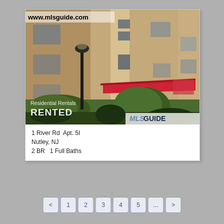[Figure (photo): Exterior photo of a brick apartment building with a red awning and landscaped bushes. Shows multiple floors with windows. Text overlay 'www.mlsguide.com' at top left, 'Residential Rentals' and 'RENTED' at bottom left, and 'MLSGUIDE' logo at bottom right.]
1 River Rd  Apt. 5I
Nutley, NJ
2 BR   1 Full Baths
< 1 2 3 4 5 ... >